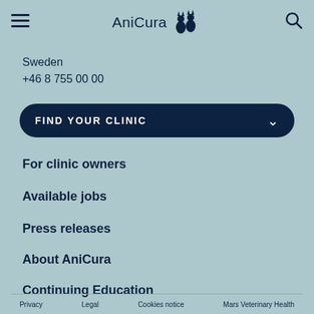AniCura
Sweden
+46 8 755 00 00
FIND YOUR CLINIC
For clinic owners
Available jobs
Press releases
About AniCura
Continuing Education
Privacy   Legal   Cookies notice   Mars Veterinary Health